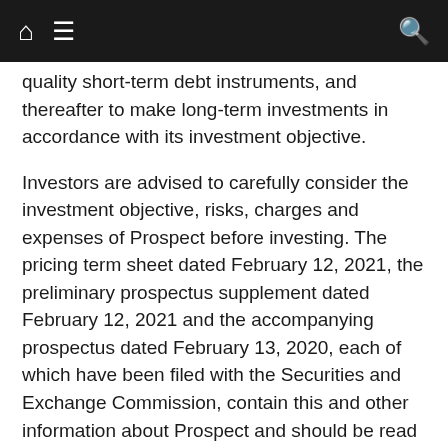Navigation bar with home icon, menu icon, and search icon
quality short-term debt instruments, and thereafter to make long-term investments in accordance with its investment objective.
Investors are advised to carefully consider the investment objective, risks, charges and expenses of Prospect before investing. The pricing term sheet dated February 12, 2021, the preliminary prospectus supplement dated February 12, 2021 and the accompanying prospectus dated February 13, 2020, each of which have been filed with the Securities and Exchange Commission, contain this and other information about Prospect and should be read carefully before investing.
The information in the pricing term sheet, the preliminary prospectus supplement, the accompanying prospectus and this press release is not complete and